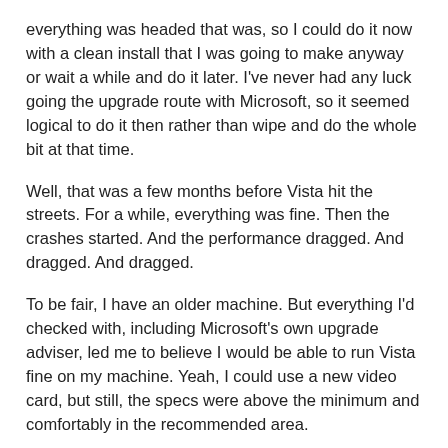everything was headed that was, so I could do it now with a clean install that I was going to make anyway or wait a while and do it later. I've never had any luck going the upgrade route with Microsoft, so it seemed logical to do it then rather than wipe and do the whole bit at that time.
Well, that was a few months before Vista hit the streets. For a while, everything was fine. Then the crashes started. And the performance dragged. And dragged. And dragged.
To be fair, I have an older machine. But everything I'd checked with, including Microsoft's own upgrade adviser, led me to believe I would be able to run Vista fine on my machine. Yeah, I could use a new video card, but still, the specs were above the minimum and comfortably in the recommended area.
What went wrong? I really don't know. I leave my machine on all the time and with XP it was never a problem. Vista would crash at least once a week, usually more, with absolutely no reason why. The closest I ever came to an answer was a nebulous driver issue. Rigorous checking and double